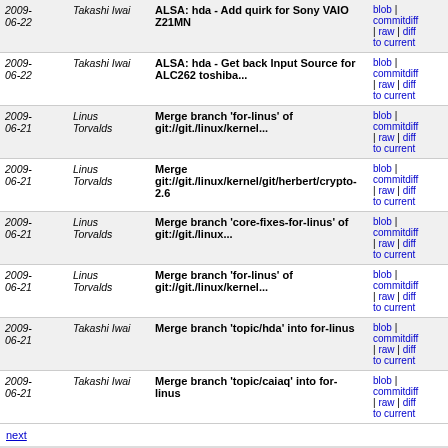| Date | Author | Commit | Links |
| --- | --- | --- | --- |
| 2009-06-22 | Takashi Iwai | ALSA: hda - Add quirk for Sony VAIO Z21MN | blob | commitdiff | raw | diff to current |
| 2009-06-22 | Takashi Iwai | ALSA: hda - Get back Input Source for ALC262 toshiba... | blob | commitdiff | raw | diff to current |
| 2009-06-21 | Linus Torvalds | Merge branch 'for-linus' of git://git./linux/kernel... | blob | commitdiff | raw | diff to current |
| 2009-06-21 | Linus Torvalds | Merge git://git./linux/kernel/git/herbert/crypto-2.6 | blob | commitdiff | raw | diff to current |
| 2009-06-21 | Linus Torvalds | Merge branch 'core-fixes-for-linus' of git://git./linux... | blob | commitdiff | raw | diff to current |
| 2009-06-21 | Linus Torvalds | Merge branch 'for-linus' of git://git./linux/kernel... | blob | commitdiff | raw | diff to current |
| 2009-06-21 | Takashi Iwai | Merge branch 'topic/hda' into for-linus | blob | commitdiff | raw | diff to current |
| 2009-06-21 | Takashi Iwai | Merge branch 'topic/caiaq' into for-linus | blob | commitdiff | raw | diff to current |
next
RDMA kernel development  Atom  RSS